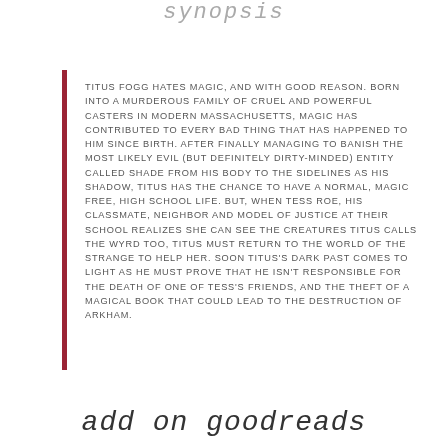synopsis
TITUS FOGG HATES MAGIC, AND WITH GOOD REASON. BORN INTO A MURDEROUS FAMILY OF CRUEL AND POWERFUL CASTERS IN MODERN MASSACHUSETTS, MAGIC HAS CONTRIBUTED TO EVERY BAD THING THAT HAS HAPPENED TO HIM SINCE BIRTH. AFTER FINALLY MANAGING TO BANISH THE MOST LIKELY EVIL (BUT DEFINITELY DIRTY-MINDED) ENTITY CALLED SHADE FROM HIS BODY TO THE SIDELINES AS HIS SHADOW, TITUS HAS THE CHANCE TO HAVE A NORMAL, MAGIC FREE, HIGH SCHOOL LIFE. BUT, WHEN TESS ROE, HIS CLASSMATE, NEIGHBOR AND MODEL OF JUSTICE AT THEIR SCHOOL REALIZES SHE CAN SEE THE CREATURES TITUS CALLS THE WYRD TOO, TITUS MUST RETURN TO THE WORLD OF THE STRANGE TO HELP HER. SOON TITUS'S DARK PAST COMES TO LIGHT AS HE MUST PROVE THAT HE ISN'T RESPONSIBLE FOR THE DEATH OF ONE OF TESS'S FRIENDS, AND THE THEFT OF A MAGICAL BOOK THAT COULD LEAD TO THE DESTRUCTION OF ARKHAM.
add on goodreads